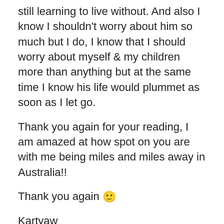still learning to live without. And also I know I shouldn't worry about him so much but I do, I know that I should worry about myself & my children more than anything but at the same time I know his life would plummet as soon as I let go.
Thank you again for your reading, I am amazed at how spot on you are with me being miles and miles away in Australia!!
Thank you again 🙂
Kartyaw
^ 0 v  ⋮
Littlespacemonkey  Feb 1, 2010, 3:00 AM
Dear Kartyaw,
I'm glad I could help shed a little bit of light on the situation. I wish I could give you a clear cut way out of this situation, but nothing is coming up for me